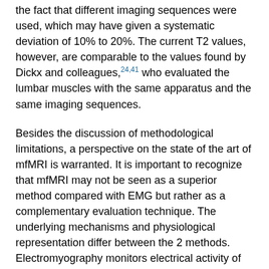the fact that different imaging sequences were used, which may have given a systematic deviation of 10% to 20%. The current T2 values, however, are comparable to the values found by Dickx and colleagues,24,41 who evaluated the lumbar muscles with the same apparatus and the same imaging sequences.
Besides the discussion of methodological limitations, a perspective on the state of the art of mfMRI is warranted. It is important to recognize that mfMRI may not be seen as a superior method compared with EMG but rather as a complementary evaluation technique. The underlying mechanisms and physiological representation differ between the 2 methods. Electromyography monitors electrical activity of activated muscles, whereas the mfMRI method is based on registering changes in metabolic activity and water content.
Both MRI and EMG measurement techniques have intrinsic advantages and disadvantages. Electromyography has the